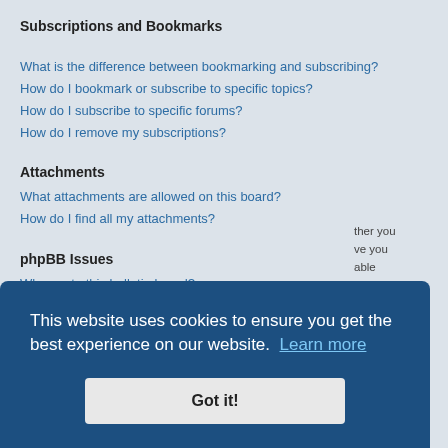Subscriptions and Bookmarks
What is the difference between bookmarking and subscribing?
How do I bookmark or subscribe to specific topics?
How do I subscribe to specific forums?
How do I remove my subscriptions?
Attachments
What attachments are allowed on this board?
How do I find all my attachments?
phpBB Issues
Who wrote this bulletin board?
Why isn't X feature available?
Who do I contact about abusive and/or legal matters related to this board?
How do I contact a board administrator?
This website uses cookies to ensure you get the best experience on our website. Learn more
Got it!